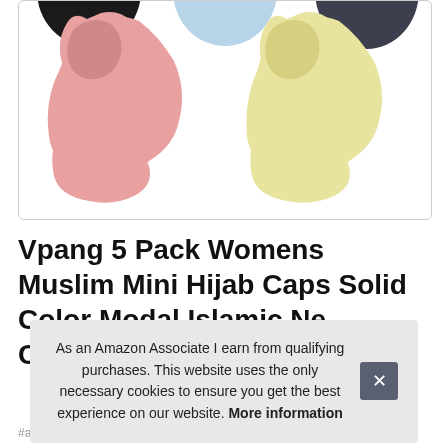[Figure (photo): Product image showing multiple hijab caps in different colors: black, light blue, dark navy (top row partial), and full views of a pink hijab and a yellow/cream hijab (bottom row). Displayed in a rounded white box with a light border.]
Vpang 5 Pack Womens Muslim Mini Hijab Caps Solid Color Modal Islamic Ne Ca
As an Amazon Associate I earn from qualifying purchases. This website uses the only necessary cookies to ensure you get the best experience on our website. More information
#ad